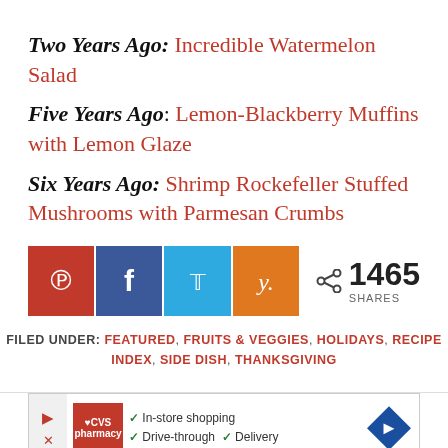Two Years Ago: Incredible Watermelon Salad
Five Years Ago: Lemon-Blackberry Muffins with Lemon Glaze
Six Years Ago: Shrimp Rockefeller Stuffed Mushrooms with Parmesan Crumbs
[Figure (other): Social sharing buttons: Pinterest (red), Facebook (blue), Twitter (light blue), Yummly (orange), with share count of 1465 SHARES]
FILED UNDER: FEATURED, FRUITS & VEGGIES, HOLIDAYS, RECIPE INDEX, SIDE DISH, THANKSGIVING
[Figure (other): CVS Pharmacy advertisement showing options for In-store shopping, Drive-through, and Delivery]